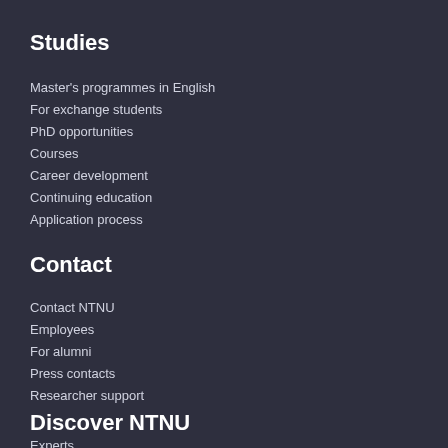Studies
Master's programmes in English
For exchange students
PhD opportunities
Courses
Career development
Continuing education
Application process
Contact
Contact NTNU
Employees
For alumni
Press contacts
Researcher support
Discover NTNU
Experts